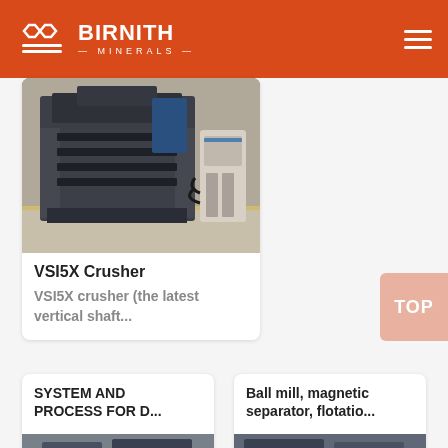BIRNITH MINERALS
[Figure (photo): Industrial VSI5X crusher machine in a factory setting, large dark metal equipment with hydraulic unit beside it on a concrete floor.]
VSI5X Crusher
VSI5X crusher (the latest vertical shaft...
[Figure (photo): Industrial machinery photo strip at bottom of SYSTEM AND PROCESS FOR D... card]
SYSTEM AND PROCESS FOR D...
[Figure (photo): Industrial machinery photo strip at bottom of Ball mill card]
Ball mill, magnetic separator, flotatio...